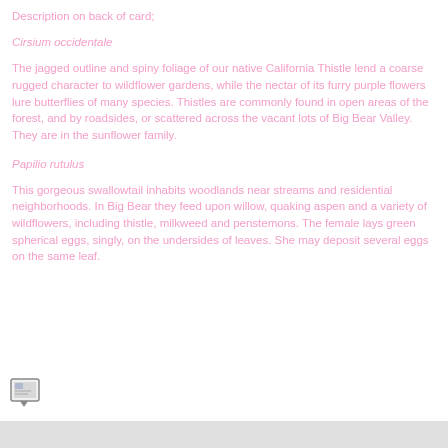Description on back of card;
Cirsium occidentale
The jagged outline and spiny foliage of our native California Thistle lend a coarse rugged character to wildflower gardens, while the nectar of its furry purple flowers lure butterflies of many species. Thistles are commonly found in open areas of the forest, and by roadsides, or scattered across the vacant lots of Big Bear Valley. They are in the sunflower family.
Papilio rutulus
This gorgeous swallowtail inhabits woodlands near streams and residential neighborhoods. In Big Bear they feed upon willow, quaking aspen and a variety of wildflowers, including thistle, milkweed and penstemons. The female lays green spherical eggs, singly, on the undersides of leaves. She may deposit several eggs on the same leaf.
[Figure (illustration): Small icon of a speech bubble or comment box with an image inside, positioned at bottom left]
[Figure (other): Light gray footer bar at the bottom of the page]